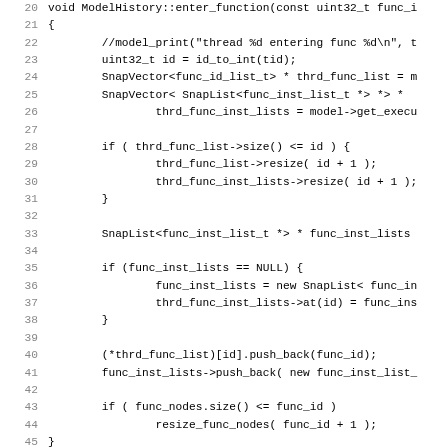[Figure (screenshot): Source code listing in C++ showing ModelHistory::enter_function and ModelHistory::exit_function methods, with line numbers 20-51, displayed in a monospace code viewer.]